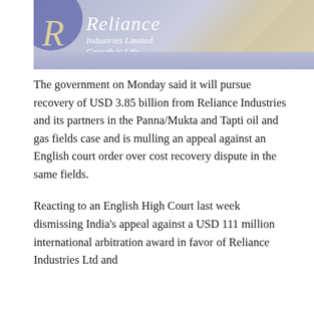[Figure (photo): Photograph of a Reliance Industries Limited sign/banner with the company logo (stylized R in a circle), text reading 'Reliance Industries Limited Growth is Life' in white italic lettering on a blue-purple background with a beige/cream diagonal section]
The government on Monday said it will pursue recovery of USD 3.85 billion from Reliance Industries and its partners in the Panna/Mukta and Tapti oil and gas fields case and is mulling an appeal against an English court order over cost recovery dispute in the same fields.
Reacting to an English High Court last week dismissing India's appeal against a USD 111 million international arbitration award in favor of Reliance Industries Ltd and